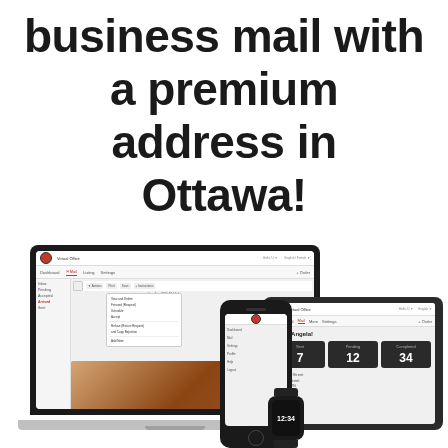business mail with a premium address in Ottawa!
[Figure (screenshot): Composite image showing a laptop, tablet, smartphone, and smartwatch all displaying a business mail management web application interface with dashboard showing counts: 7 (Sent), 12 (Pending), 34 (Completed)]